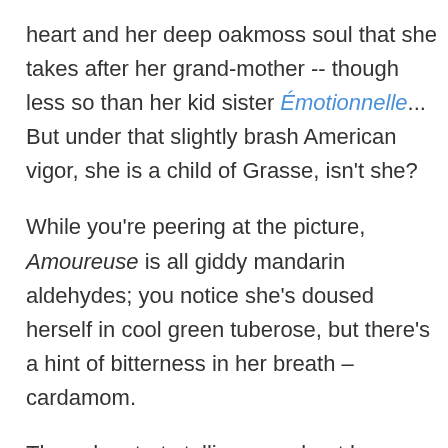heart and her deep oakmoss soul that she takes after her grand-mother -- though less so than her kid sister Émotionnelle... But under that slightly brash American vigor, she is a child of Grasse, isn't she?
While you're peering at the picture, Amoureuse is all giddy mandarin aldehydes; you notice she's doused herself in cool green tuberose, but there's a hint of bitterness in her breath – cardamom.
Then she starts telling you about her father Michel's ten years in Tahiti… She says that one day, while he was hiking on dry hillsides, a powerful and spicy fragrance drew his attention. He walked downhill towards it until he reached a hollow choked with dense, tropical vegetation. Still, he